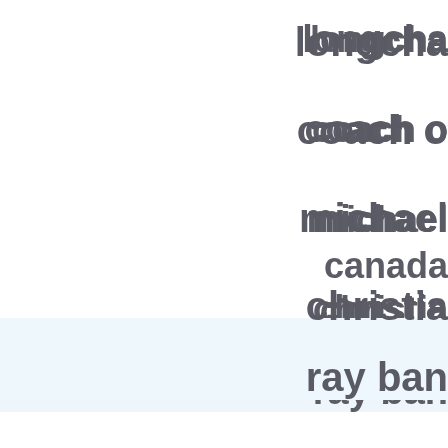longcha...
coach o...
michael...
christia...
ray ban...
canada ...
canada ...
nike fac...
asics sh...
hermes ...